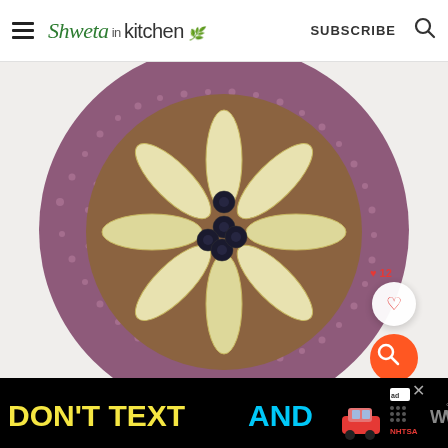Shweta in Kitchen — SUBSCRIBE
[Figure (photo): Overhead view of a round cake or pancake on a purple polka-dot plate, topped with fanned pear slices arranged in a flower pattern, with blueberries at the center]
[Figure (infographic): Advertisement banner: 'DON'T TEXT AND' with a red car graphic, ad label, NHTSA logo dots grid, and a close X button. Next to it is a WW logo.]